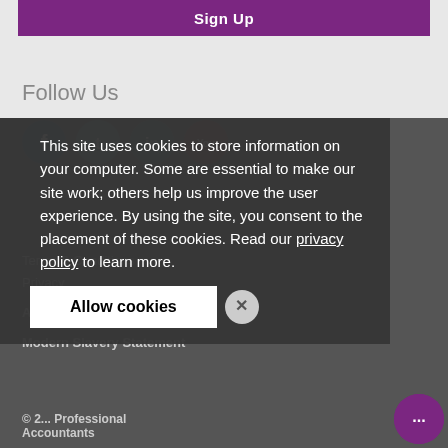Sign Up
Follow Us
[Figure (other): Social media icons: Facebook, Twitter, LinkedIn, YouTube]
This site uses cookies to store information on your computer. Some are essential to make our site work; others help us improve the user experience. By using the site, you consent to the placement of these cookies. Read our privacy policy to learn more.
Allow cookies
Terms & Conditions
Privacy
Accessibility
Modern Slavery Statement
© 2... Professional Accountants